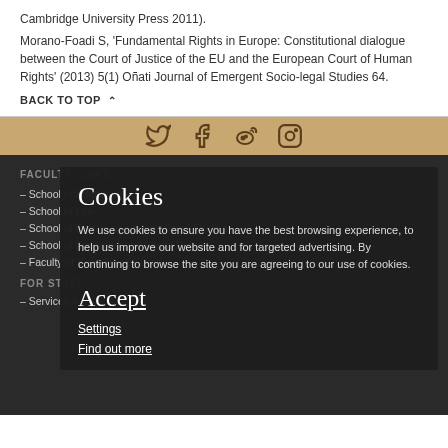Cambridge University Press 2011).
Morano-Foadi S, 'Fundamental Rights in Europe: Constitutional dialogue between the Court of Justice of the EU and the European Court of Human Rights' (2013) 5(1) Oñati Journal of Emergent Socio-legal Studies 64.
BACK TO TOP ↑
[Figure (other): Social media icons bar (Twitter, Facebook, Weibo, Instagram) on a gold/brown background]
FACULTY LINKS
– School of Education
– School of Law
– School of Politics and International Studies
– School of Sociology and Social Policy
– Faculty of Biological Sciences
FOR STAFF
– Services A-Z
Cookies
We use cookies to ensure you have the best browsing experience, to help us improve our website and for targeted advertising. By continuing to browse the site you are agreeing to our use of cookies.
Accept
Settings
Find out more